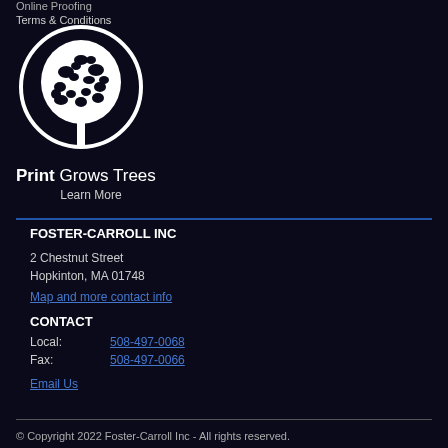Online Proofing
Terms & Conditions
[Figure (logo): Print Grows Trees logo: white tree silhouette inside a white circle on dark background]
Print Grows Trees
Learn More
FOSTER-CARROLL INC
2 Chestnut Street
Hopkinton, MA 01748
Map and more contact info
CONTACT
Local: 508-497-0068
Fax: 508-497-0066
Email Us
© Copyright 2022 Foster-Carroll Inc - All rights reserved.